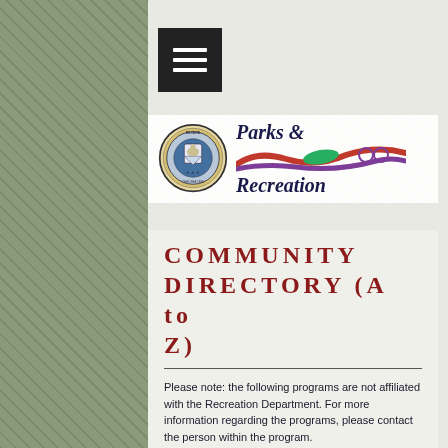[Figure (logo): Parks & Recreation logo with Revere city seal and colorful wave graphic]
COMMUNITY DIRECTORY (A to Z)
Please note: the following programs are not affiliated with the Recreation Department. For more information regarding the programs, please contact the person within the program.
If your organization is not listed on our website, please email revererec@revere.org with information pertaining to your organization and/or program. Programs must